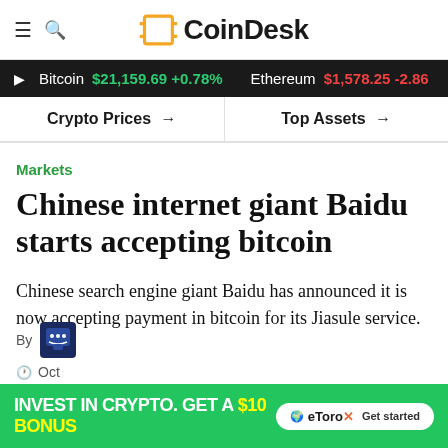CoinDesk
Bitcoin $21,159.69 +0.78%   Ethereum $1,578.25 -2.86
Crypto Prices →   Top Assets →
Markets
Chinese internet giant Baidu starts accepting bitcoin
Chinese search engine giant Baidu has announced it is now accepting payment in bitcoin for its Jiasule service.
By
Oct
[Figure (infographic): eToro advertisement banner: INVEST IN CRYPTO. GET A $10 BONUS with eToro X logo and Get started button]